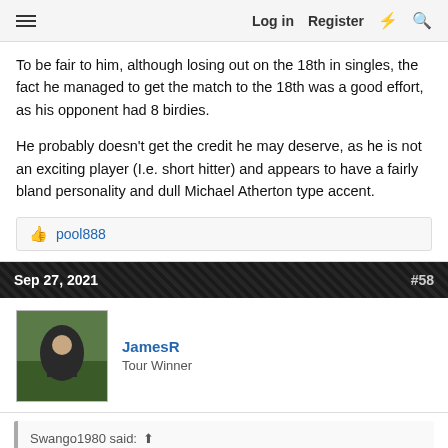≡  Log in  Register  ⚡  🔍
To be fair to him, although losing out on the 18th in singles, the fact he managed to get the match to the 18th was a good effort, as his opponent had 8 birdies.
He probably doesn't get the credit he may deserve, as he is not an exciting player (I.e. short hitter) and appears to have a fairly bland personality and dull Michael Atherton type accent.
👍 pool888
Sep 27, 2021  #58
JamesR
Tour Winner
Swango1980 said: ↑
To be fair to him, although losing out on the 18th in singles, the fact he managed to get the match to the 18th was a good effort, as his